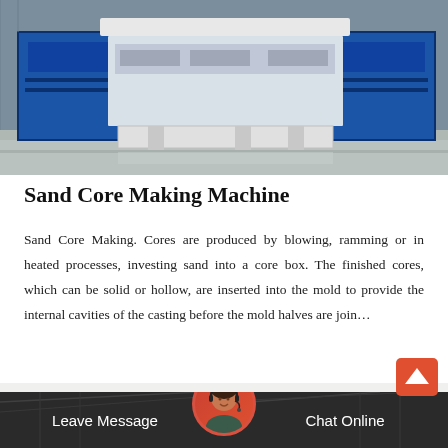[Figure (photo): Industrial sand core making machine with blue metal components on a factory floor with reflective grey concrete surface]
Sand Core Making Machine
Sand Core Making. Cores are produced by blowing, ramming or in heated processes, investing sand into a core box. The finished cores, which can be solid or hollow, are inserted into the mold to provide the internal cavities of the casting before the mold halves are join…
[Figure (photo): Bottom banner showing a warehouse/industrial background with a customer service representative avatar in the center, Leave Message button on the left, Chat Online button on the right, and a red scroll-to-top arrow button in the upper right]